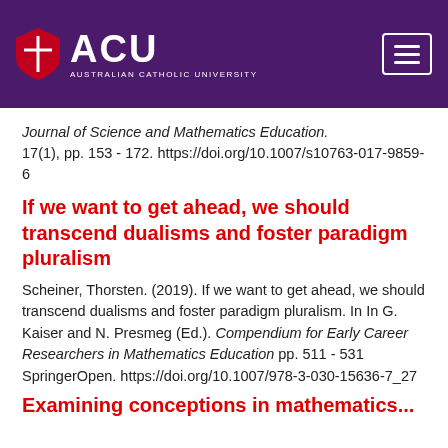[Figure (logo): Australian Catholic University (ACU) logo with shield emblem and hamburger menu button on purple header background]
Journal of Science and Mathematics Education. 17(1), pp. 153 - 172. https://doi.org/10.1007/s10763-017-9859-6
If we want to get ahead, we should transcend dualisms and foster paradigm pluralism
Scheiner, Thorsten. (2019). If we want to get ahead, we should transcend dualisms and foster paradigm pluralism. In In G. Kaiser and N. Presmeg (Ed.). Compendium for Early Career Researchers in Mathematics Education pp. 511 - 531 SpringerOpen. https://doi.org/10.1007/978-3-030-15636-7_27
Examining conceptions in mathematics...